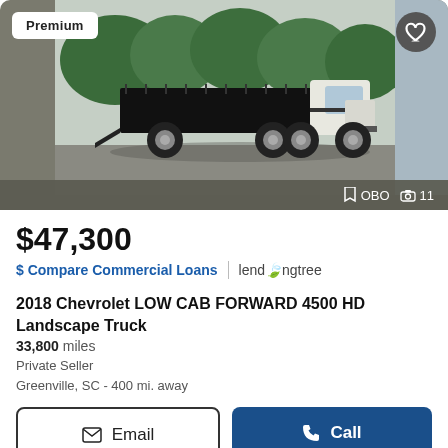[Figure (photo): Side profile photo of a white 2018 Chevrolet Low Cab Forward 4500 HD Landscape Truck with a flatbed/landscape body, parked on a paved lot with trees in the background. A 'Premium' badge appears in the top-left corner of the listing card.]
OBO  📷 11
$47,300
$ Compare Commercial Loans | lendingtree
2018 Chevrolet LOW CAB FORWARD 4500 HD Landscape Truck
33,800 miles
Private Seller
Greenville, SC - 400 mi. away
Email
Call